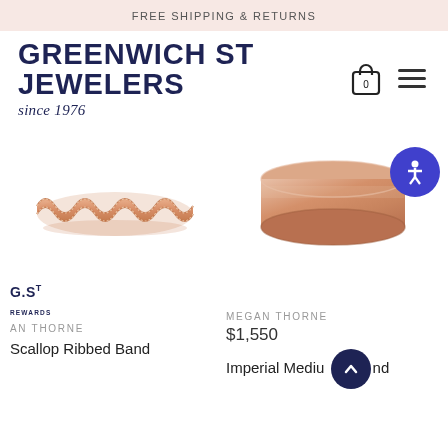FREE SHIPPING & RETURNS
[Figure (logo): Greenwich St Jewelers logo with 'since 1976' tagline]
[Figure (photo): Rose gold scallop ribbed band ring on white background]
[Figure (photo): Rose gold imperial medium band ring on white background with accessibility icon overlay]
[Figure (logo): G.St Rewards logo]
AN THORNE
MEGAN THORNE
$1,550
Scallop Ribbed Band
Imperial Mediu nd